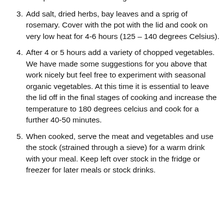top of the lamb and add some of the sauteed ingredients on top as well as surrounding the lamb in the stock.
3. Add salt, dried herbs, bay leaves and a sprig of rosemary. Cover with the pot with the lid and cook on very low heat for 4-6 hours (125 – 140 degrees Celsius).
4. After 4 or 5 hours add a variety of chopped vegetables. We have made some suggestions for you above that work nicely but feel free to experiment with seasonal organic vegetables. At this time it is essential to leave the lid off in the final stages of cooking and increase the temperature to 180 degrees celcius and cook for a further 40-50 minutes.
5. When cooked, serve the meat and vegetables and use the stock (strained through a sieve) for a warm drink with your meal. Keep left over stock in the fridge or freezer for later meals or stock drinks.